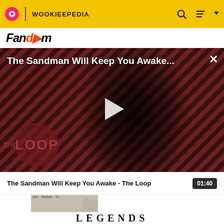WOOKIEEPEDIA | Fandom
[Figure (screenshot): Video thumbnail showing a dark-robed figure against diagonal red/brown striped background with 'THE LOOP' watermark and a play button overlay. Title reads 'The Sandman Will Keep You Awake...' with a close (X) button.]
The Sandman Will Keep You Awake - The Loop
01:40
[Figure (screenshot): Small thumbnail image showing text 'kkult' in italic style on a grayish background]
LEGENDS